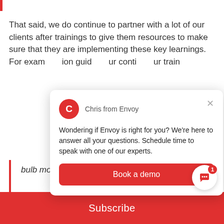That said, we do continue to partner with a lot of our clients after trainings to give them resources to make sure that they are implementing these key learnings. For example, we have a post-session guide that... continue our training...
[Figure (screenshot): Chat popup from Chris from Envoy saying 'Wondering if Envoy is right for you? We're here to answer all your questions. Schedule time to speak with one of our experts.' with a 'Book a demo' button.]
bulb moment —people realizing that they do
Subscribe